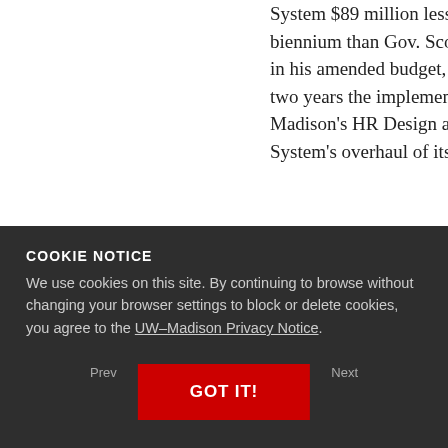System $89 million less in the next biennium than Gov. Scott Walker proposed in his amended budget, and delayed for two years the implementation of UW–Madison's HR Design and the UW System's overhaul of its personnel system.
Statement of the chancellor on the Joint Finance Committee's budget action
May 23, 2013
Interim Chancellor David Ward has issued the following statement regarding the Joint Finance Committee budget action. We...
COOKIE NOTICE
We use cookies on this site. By continuing to browse without changing your browser settings to block or delete cookies, you agree to the UW–Madison Privacy Notice.